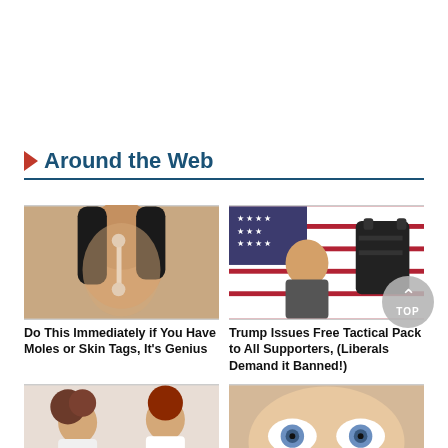Around the Web
[Figure (photo): Woman applying something white to her nose, close-up beauty/skincare photo]
Do This Immediately if You Have Moles or Skin Tags, It's Genius
[Figure (photo): Donald Trump pointing in front of American flag, with tactical backpack composite image]
Trump Issues Free Tactical Pack to All Supporters, (Liberals Demand it Banned!)
[Figure (photo): Two women, one showing mole on shoulder, skincare/dermatology related]
[Figure (photo): Woman with dramatic eye makeup, mascara smudged under eyes, beauty/cosmetics]